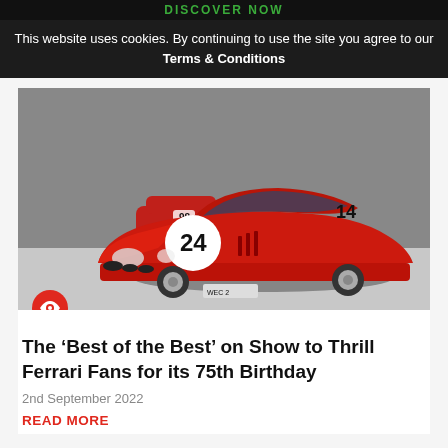DISCOVER NOW
This website uses cookies. By continuing to use the site you agree to our Terms & Conditions
[Figure (photo): A red Ferrari race car with number 24 on display in a museum showroom, with other classic Ferraris visible in the background. License plate reads WEC 2.]
The ‘Best of the Best’ on Show to Thrill Ferrari Fans for its 75th Birthday
2nd September 2022
READ MORE